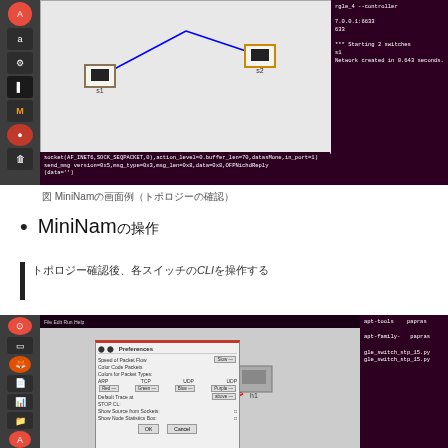[Figure (screenshot): MiniNet GUI screenshot showing two network nodes connected by blue lines, with terminal output in dark purple background]
図 MiniNamの画面例（トポロジーの確認）
MiniNamの操作
トポロジー確認後、各スイッチのCLIを操作する
[Figure (screenshot): MiniNet GUI screenshot with Preferences dialog open, showing network topology with nodes and connections]